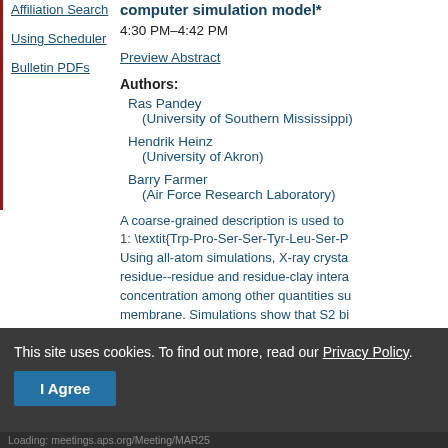Affiliation Search
Using Scheduler
Bulletin PDFs
computer simulation model*
4:30 PM–4:42 PM
Preview Abstract
Authors:
Ras Pandey
(University of Southern Mississippi)
Hendrik Heinz
(University of Akron)
Barry Farmer
(Air Force Research Laboratory)
A coarse-grained description is used to 1: \textit{Trp-Pro-Ser-Ser-Tyr-Leu-Ser-P Using all-atom simulations, X-ray crysta residue--residue and residue-clay intera concentration among other quantities su membrane. Simulations show that S2 bi the membrane, leading to its pinning. He
*This work is supported by Air Force Ro
This site uses cookies. To find out more, read our Privacy Policy.
I Agree